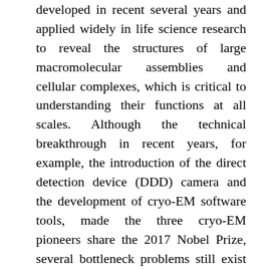developed in recent several years and applied widely in life science research to reveal the structures of large macromolecular assemblies and cellular complexes, which is critical to understanding their functions at all scales. Although the technical breakthrough in recent years, for example, the introduction of the direct detection device (DDD) camera and the development of cryo-EM software tools, made the three cryo-EM pioneers share the 2017 Nobel Prize, several bottleneck problems still exist that hamper the further increase of the resolution of single-particle reconstruction and hold back the application of in situ subnanometer structure determination by cryo-tomography. Radiation damage is still the key limiting factor in cryo-EM. In order to minimize the radiation damage and preserve as much resolution as possible, the imaging conditions of a low dose and weak contrast make cryo-EM images extremely noisy with very low signal-to-noise ratios